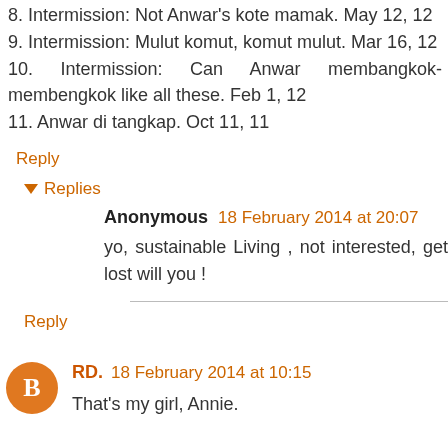8. Intermission: Not Anwar's kote mamak. May 12, 12
9. Intermission: Mulut komut, komut mulut. Mar 16, 12
10. Intermission: Can Anwar membangkok-membengkok like all these. Feb 1, 12
11. Anwar di tangkap. Oct 11, 11
Reply
Replies
Anonymous  18 February 2014 at 20:07
yo, sustainable Living , not interested, get lost will you !
Reply
RD.  18 February 2014 at 10:15
That's my girl, Annie.

That's what I waiting for from you.
I'm against BN contesting, right from the start, even in